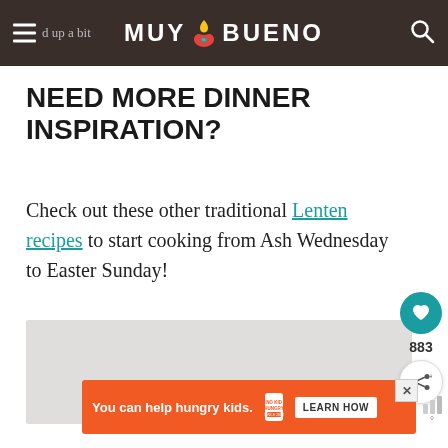MUY BUENO
NEED MORE DINNER INSPIRATION?
Check out these other traditional Lenten recipes to start cooking from Ash Wednesday to Easter Sunday!
[Figure (screenshot): Gray image placeholder area below main text]
[Figure (infographic): Advertisement banner: You can help hungry kids. NO KID HUNGRY - LEARN HOW]